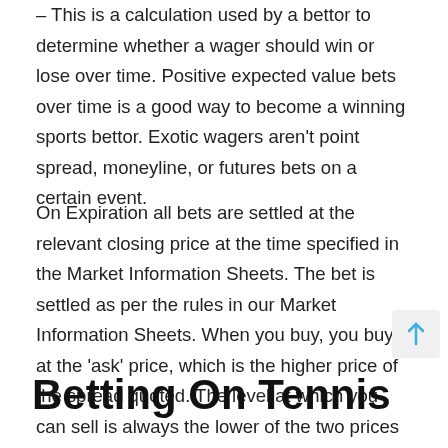– This is a calculation used by a bettor to determine whether a wager should win or lose over time. Positive expected value bets over time is a good way to become a winning sports bettor. Exotic wagers aren't point spread, moneyline, or futures bets on a certain event.
On Expiration all bets are settled at the relevant closing price at the time specified in the Market Information Sheets. The bet is settled as per the rules in our Market Information Sheets. When you buy, you buy at the 'ask' price, which is the higher price of the spread quoted. The level at which you can sell is always the lower of the two prices and is called the bid.
Betting On Tennis Grand S...